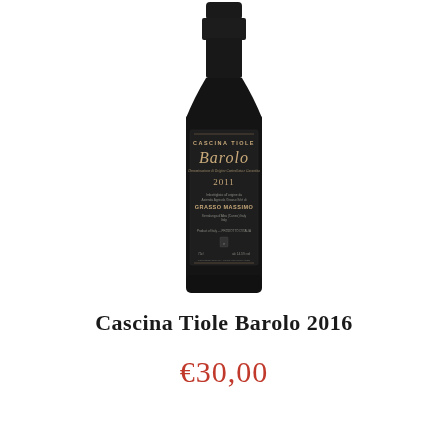[Figure (photo): A dark wine bottle with a black label reading 'Cascina Tiole Barolo 2011' with gold script text. The bottle has a dark neck and body, typical of a Barolo wine bottle.]
Cascina Tiole Barolo 2016
€30,00